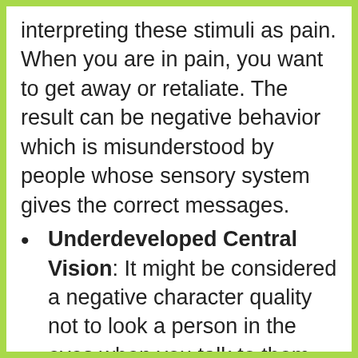interpreting these stimuli as pain. When you are in pain, you want to get away or retaliate. The result can be negative behavior which is misunderstood by people whose sensory system gives the correct messages.
Underdeveloped Central Vision: It might be considered a negative character quality not to look a person in the eyes when you talk to them. We tend to require this of our children, especially when we